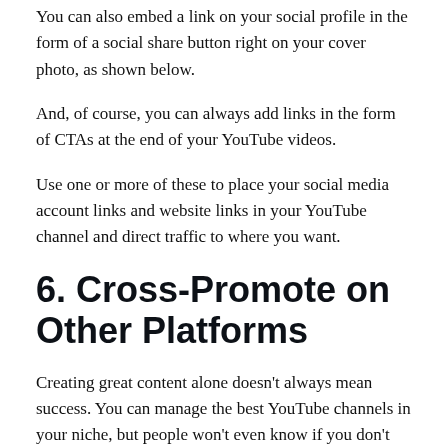You can also embed a link on your social profile in the form of a social share button right on your cover photo, as shown below.
And, of course, you can always add links in the form of CTAs at the end of your YouTube videos.
Use one or more of these to place your social media account links and website links in your YouTube channel and direct traffic to where you want.
6. Cross-Promote on Other Platforms
Creating great content alone doesn't always mean success. You can manage the best YouTube channels in your niche, but people won't even know if you don't promote them.